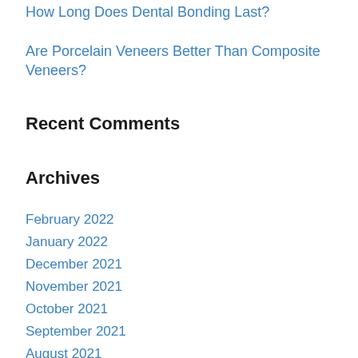How Long Does Dental Bonding Last?
Are Porcelain Veneers Better Than Composite Veneers?
Recent Comments
Archives
February 2022
January 2022
December 2021
November 2021
October 2021
September 2021
August 2021